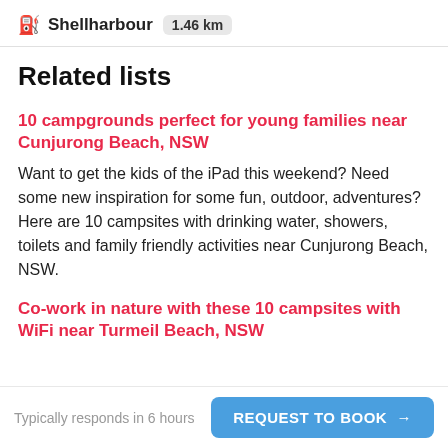Shellharbour  1.46 km
Related lists
10 campgrounds perfect for young families near Cunjurong Beach, NSW
Want to get the kids of the iPad this weekend? Need some new inspiration for some fun, outdoor, adventures? Here are 10 campsites with drinking water, showers, toilets and family friendly activities near Cunjurong Beach, NSW.
Co-work in nature with these 10 campsites with WiFi near Turmeil Beach, NSW
Typically responds in 6 hours  REQUEST TO BOOK →